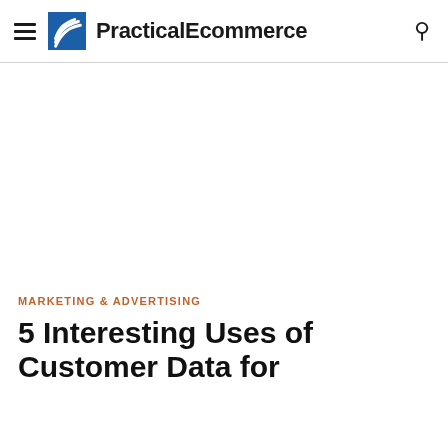PracticalEcommerce
MARKETING & ADVERTISING
5 Interesting Uses of Customer Data for